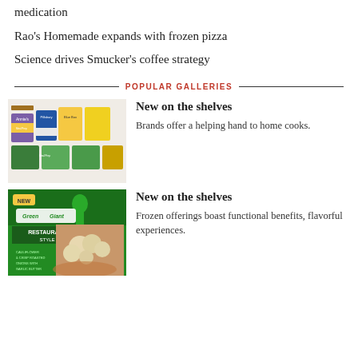medication
Rao's Homemade expands with frozen pizza
Science drives Smucker's coffee strategy
POPULAR GALLERIES
[Figure (photo): Assorted food product packages on white background — Annie's mac and cheese, Pillsbury crescent rolls, and other branded grocery items]
New on the shelves
Brands offer a helping hand to home cooks.
[Figure (photo): Green Giant Restaurant Style Cauliflower & Crispy Roasted Onions with Garlic Butter frozen vegetable package]
New on the shelves
Frozen offerings boast functional benefits, flavorful experiences.